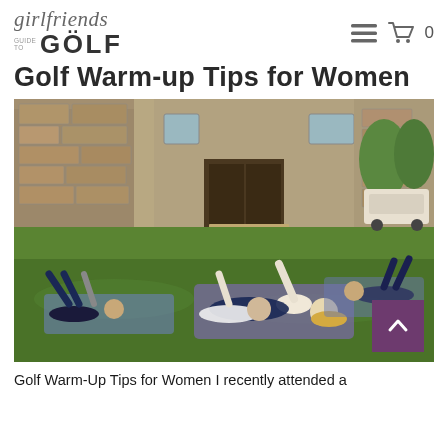Girlfriends Guide to Golf — navigation header with hamburger menu and cart icon (0)
Golf Warm-up Tips for Women
[Figure (photo): Women doing warm-up stretches lying on their backs on yoga mats on a green lawn in front of a stone building, with a golf cart visible in the background. Multiple women raising legs and arms in exercise poses.]
Golf Warm-Up Tips for Women I recently attended a